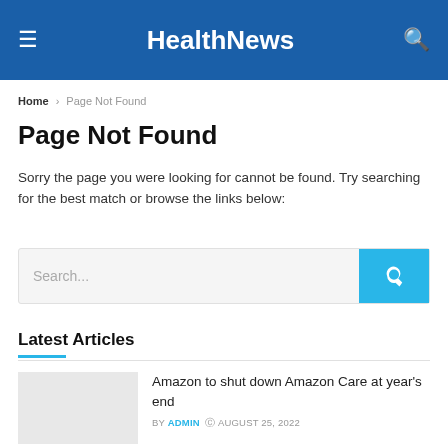HealthNews
Home › Page Not Found
Page Not Found
Sorry the page you were looking for cannot be found. Try searching for the best match or browse the links below:
[Figure (screenshot): Search input box with placeholder text 'Search...' and a cyan search button with magnifying glass icon]
Latest Articles
Amazon to shut down Amazon Care at year's end BY ADMIN © AUGUST 25, 2022